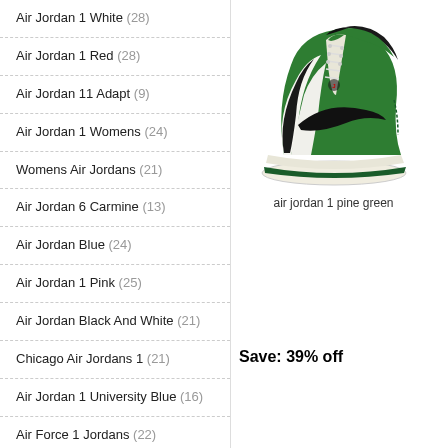Air Jordan 1 White (28)
Air Jordan 1 Red (28)
Air Jordan 11 Adapt (9)
Air Jordan 1 Womens (24)
Womens Air Jordans (21)
Air Jordan 6 Carmine (13)
Air Jordan Blue (24)
Air Jordan 1 Pink (25)
Air Jordan Black And White (21)
Chicago Air Jordans 1 (21)
Air Jordan 1 University Blue (16)
Air Force 1 Jordans (22)
Air Jordans 1S (22)
Air One Jordans (23)
Air Jordan 1 Mochas (21)
[Figure (photo): Air Jordan 1 Pine Green sneaker - green, black and white high-top basketball shoe]
air jordan 1 pine green
$144.00  $88.00  $147
Save: 39% off